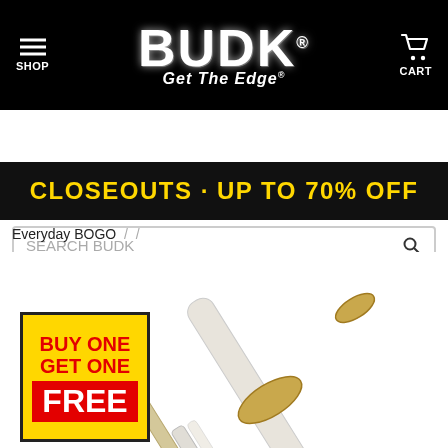[Figure (logo): BUDK 'Get The Edge' logo with hamburger menu (SHOP) on left and cart icon (CART) on right, all on black background]
[Figure (screenshot): Search bar with placeholder text 'SEARCH BUDK' and magnifying glass icon]
CLOSEOUTS · UP TO 70% OFF
Everyday BOGO / /
[Figure (photo): White and gold Japanese katana sword shown partially, with scabbard. Yellow 'BUY ONE GET ONE FREE' badge overlaid on lower left.]